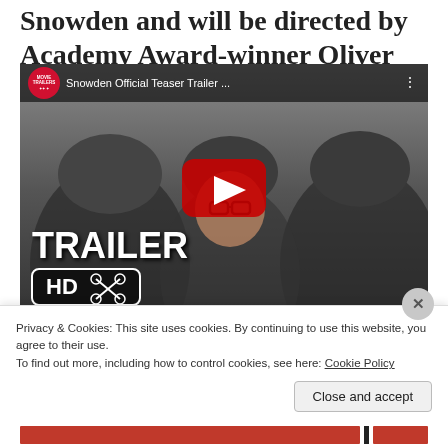Snowden and will be directed by Academy Award-winner Oliver Stone.
[Figure (screenshot): YouTube video thumbnail for 'Snowden Official Teaser Trailer ...' showing soldiers in military gear with a man wearing glasses and a helmet in center. Large red YouTube play button in center. Text overlay reads 'TRAILER' and 'HD' badge with scissors icon. Top bar shows Trailers channel logo and video title.]
Privacy & Cookies: This site uses cookies. By continuing to use this website, you agree to their use.
To find out more, including how to control cookies, see here: Cookie Policy
Close and accept